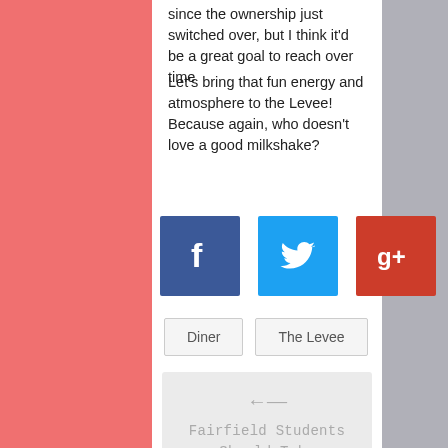since the ownership just switched over, but I think it'd be a great goal to reach over time
Let's bring that fun energy and atmosphere to the Levee! Because again, who doesn't love a good milkshake?
[Figure (infographic): Three social share buttons: Facebook (blue), Twitter (cyan), Google+ (red)]
Diner
The Levee
← Fairfield Students Should Take Advantage of Covid-19 Booster Clinic